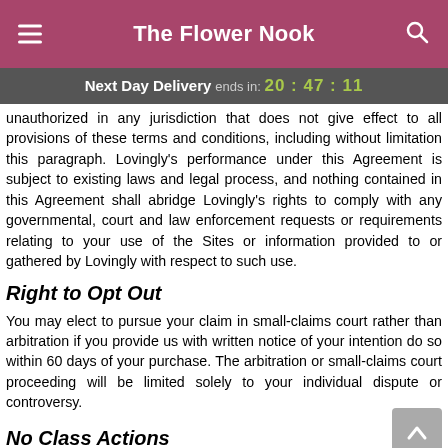The Flower Nook
Next Day Delivery ends in: 20:47:11
unauthorized in any jurisdiction that does not give effect to all provisions of these terms and conditions, including without limitation this paragraph. Lovingly's performance under this Agreement is subject to existing laws and legal process, and nothing contained in this Agreement shall abridge Lovingly's rights to comply with any governmental, court and law enforcement requests or requirements relating to your use of the Sites or information provided to or gathered by Lovingly with respect to such use.
Right to Opt Out
You may elect to pursue your claim in small-claims court rather than arbitration if you provide us with written notice of your intention do so within 60 days of your purchase. The arbitration or small-claims court proceeding will be limited solely to your individual dispute or controversy.
No Class Actions